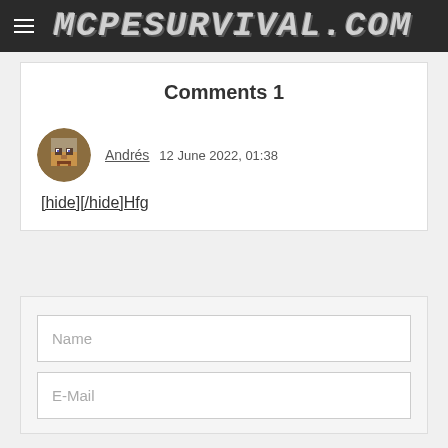mcpesurvival.com
Comments 1
Andrés  12 June 2022, 01:38
[hide][/hide]Hfg
Name
E-Mail